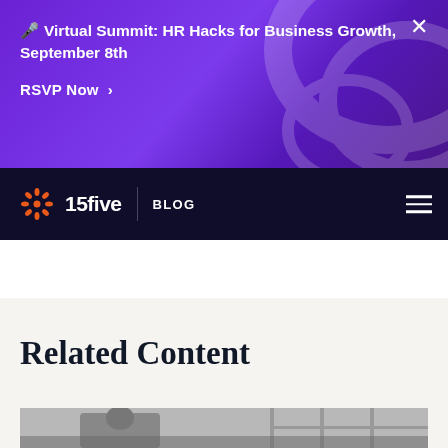🎙 Virtual Summit: HR Hacks for Business Growth, September 8th
RSVP Now >
15five | BLOG
Related Content
[Figure (photo): Black and white photo of a man working at a desk, viewed from the side, with large windows in the background]